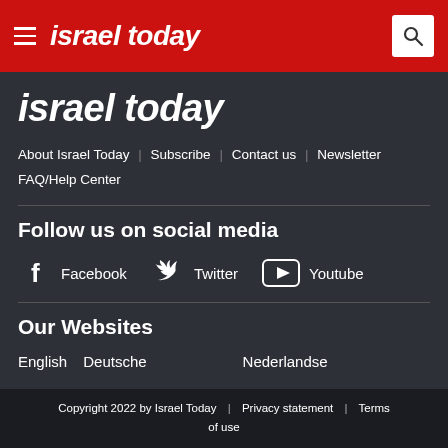israel today
israel today
About Israel Today | Subscribe | Contact us | Newsletter | FAQ/Help Center
Follow us on social media
Facebook  Twitter  Youtube
Our Websites
English  Deutsche  Nederlandse
Copyright 2022 by Israel Today  |  Privacy statement  |  Terms of use